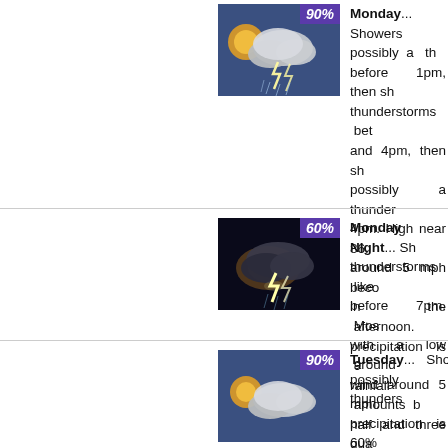[Figure (photo): Weather icon showing thunderstorm with sun partially visible behind clouds and lightning, labeled 90%]
Monday... Showers possibly a th before 1pm, then sh thunderstorms bet and 4pm, then sh possibly a thunder 4pm. High near 86. around 5 mph beco in the afternoon. precipitation is 9 rainfall amounts b half and three qua inch possible.
[Figure (photo): Weather icon showing nighttime thunderstorm with clouds and lightning, labeled 60%]
Monday Night... Sh thunderstorms like before 7pm. Mos with a low around wind around 5 mph. precipitation is 60%
[Figure (photo): Weather icon showing thunderstorm with sun and clouds, labeled 90%]
Tuesday... Show possibly a thunders